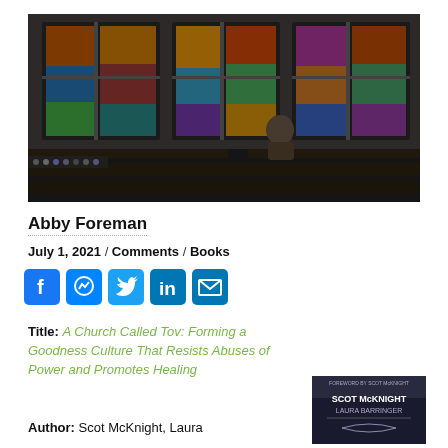[Figure (photo): A person sitting alone in a church pew with colorful stained glass windows in the background, dimly lit interior]
Abby Foreman
July 1, 2021 / Comments / Books
[Figure (infographic): Social media sharing icons: Facebook, Messenger, Twitter, LinkedIn, Email]
Title: A Church Called Tov: Forming a Goodness Culture That Resists Abuses of Power and Promotes Healing
Author: Scot McKnight, Laura
[Figure (photo): Book cover of A Church Called Tov by Scot McKnight and Laura Barringer, dark background]